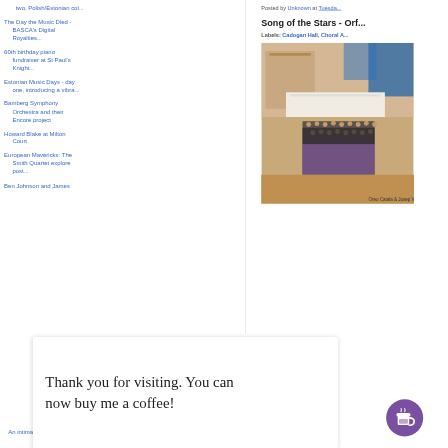two, Polish/Estonian col...
The Day the Music Died - BASCA's Digital Royalties...
60th birthday piano fundraiser at St Paul's Knight...
Estonian Music Days - day one, introducing a vibra...
Bamberg Symphony Orchestra and their Encore project
Howard Blake at Milton Court
European Mavericks: The Smith Quartet explore post...
Ben Johnson and James
Posted by Unknown at Tuesda...
Song of the Stars - Orf...
Labels: Cadogan Hall, Choral A...
[Figure (photo): Choir performing on stage in a concert hall with blue lighting, Oreo Catala & Josep Vila photo credit]
Thank you for visiting. You can now buy me a coffee!
An intimate evening with a